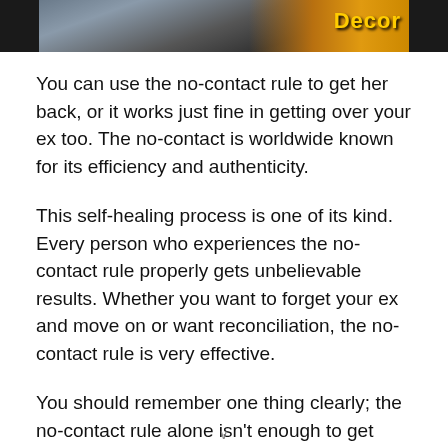[Figure (photo): Partial image visible at top of page, appears to be a crowd or group of people with orange/yellow text overlay on right side]
You can use the no-contact rule to get her back, or it works just fine in getting over your ex too. The no-contact is worldwide known for its efficiency and authenticity.
This self-healing process is one of its kind. Every person who experiences the no-contact rule properly gets unbelievable results. Whether you want to forget your ex and move on or want reconciliation, the no-contact rule is very effective.
You should remember one thing clearly; the no-contact rule alone isn't enough to get your ex back. There is much more to get an ex than experiencing the no-